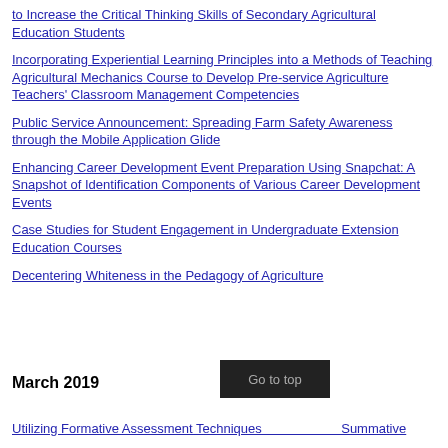to Increase the Critical Thinking Skills of Secondary Agricultural Education Students
Incorporating Experiential Learning Principles into a Methods of Teaching Agricultural Mechanics Course to Develop Pre-service Agriculture Teachers' Classroom Management Competencies
Public Service Announcement: Spreading Farm Safety Awareness through the Mobile Application Glide
Enhancing Career Development Event Preparation Using Snapchat: A Snapshot of Identification Components of Various Career Development Events
Case Studies for Student Engagement in Undergraduate Extension Education Courses
Decentering Whiteness in the Pedagogy of Agriculture
March 2019
Utilizing Formative Assessment Techniques ... Summative ...